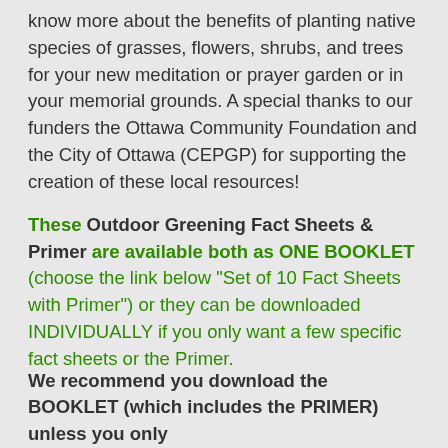know more about the benefits of planting native species of grasses, flowers, shrubs, and trees for your new meditation or prayer garden or in your memorial grounds. A special thanks to our funders the Ottawa Community Foundation and the City of Ottawa (CEPGP) for supporting the creation of these local resources!
These Outdoor Greening Fact Sheets & Primer are available both as ONE BOOKLET (choose the link below "Set of 10 Fact Sheets with Primer") or they can be downloaded INDIVIDUALLY if you only want a few specific fact sheets or the Primer.
We recommend you download the BOOKLET (which includes the PRIMER) unless you only